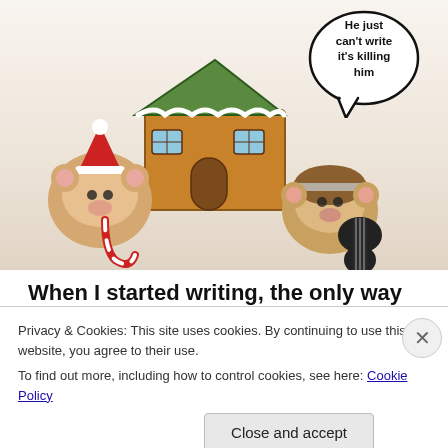[Figure (illustration): Illustration of two hamsters: one wearing a Christmas hat near a gingerbread house holding a candy cane, another playing a guitar. A speech bubble reads 'He just can't write it's killing him'.]
When I started writing, the only way to get published and find an audience was to get a contract with a traditional publisher, and books were available in print format only. Digital technology has created so many more ways for people to read and to publish. There's a
Privacy & Cookies: This site uses cookies. By continuing to use this website, you agree to their use.
To find out more, including how to control cookies, see here: Cookie Policy
Close and accept